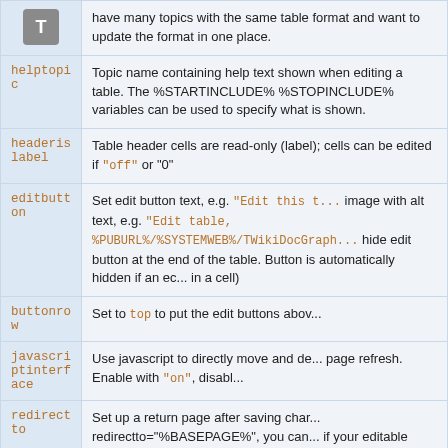| Parameter | Description |
| --- | --- |
| (icon) | have many topics with the same table format and want to update the format in one place. |
| helptopic | Topic name containing help text shown when editing a table. The %STARTINCLUDE% %STOPINCLUDE% variables can be used to specify what is shown. |
| headerislabel | Table header cells are read-only (label); cells can be edited if "off" or "0" |
| editbutton | Set edit button text, e.g. "Edit this t..." image with alt text, e.g. "Edit table, %PUBURL%/%SYSTEMWEB%/TWikiDocGraph... hide edit button at the end of the table. Button is automatically hidden if an ec... in a cell) |
| buttonrow | Set to top to put the edit buttons abov... |
| javascriptinterface | Use javascript to directly move and de... page refresh. Enable with "on", disabl... |
| redirectto | Set up a return page after saving char... redirectto="%BASEPAGE%", you can... if your editable table is included by an... |